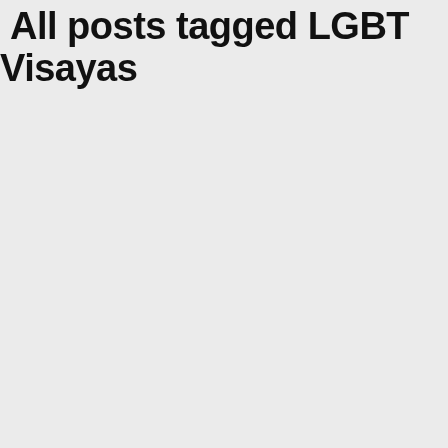All posts tagged  LGBT Visayas